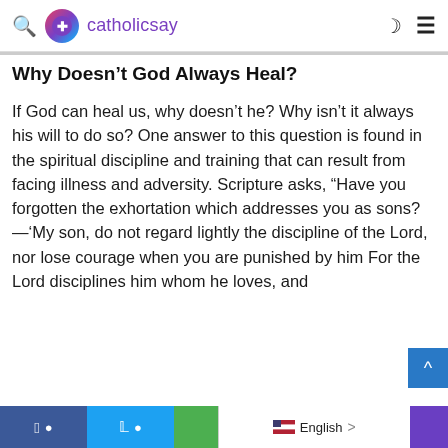catholicsay
Why Doesn't God Always Heal?
If God can heal us, why doesn't he? Why isn't it always his will to do so? One answer to this question is found in the spiritual discipline and training that can result from facing illness and adversity. Scripture asks, “Have you forgotten the exhortation which addresses you as sons?—‘My son, do not regard lightly the discipline of the Lord, nor lose courage when you are punished by him For the Lord disciplines him whom he loves, and
Facebook  Twitter  English